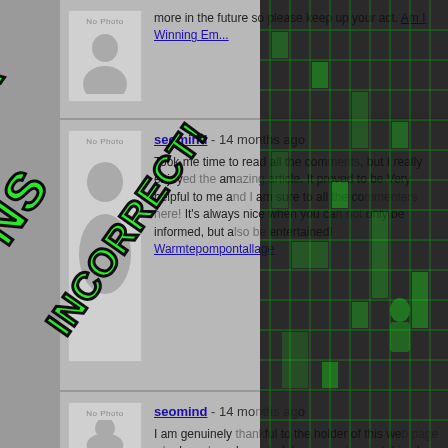[Figure (screenshot): Website comment section with user avatars (No Photo placeholder) and comments by 'seomind'. Three comment blocks visible, partially obscured by a green/black watermark overlay with text 'MEANS INCORRECT'.]
seomind - 14 months ago
Took me time to read all the comments, but I really enjoyed the article. It proved to be Very helpful to me and I am sure to all the commenters here! It's always nice when you can not only be informed, but also entertained! Warmtepompontallage
seomind - 14 months ago
I am genuinely thankful to the holder of this web page who has shared wonderful paragraphs at at this place   Airco Limburg
seomind - 14 months ago
Hi to everybody, here everyone is sharing knowledge, so it's good to see this site, and I used to visit this blog daily to learn.